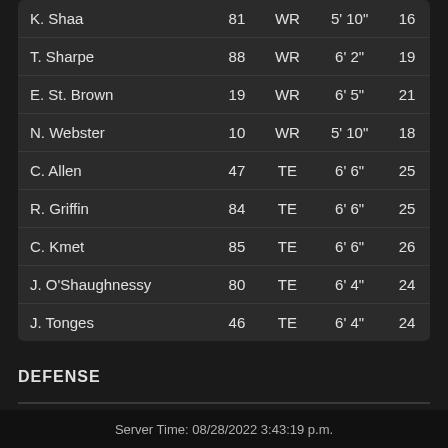| Name | # | Pos | Ht | Wt |
| --- | --- | --- | --- | --- |
| K. Shaa | 81 | WR | 5' 10" | 16… |
| T. Sharpe | 88 | WR | 6' 2" | 19… |
| E. St. Brown | 19 | WR | 6' 5" | 21… |
| N. Webster | 10 | WR | 5' 10" | 18… |
| C. Allen | 47 | TE | 6' 6" | 25… |
| R. Griffin | 84 | TE | 6' 6" | 25… |
| C. Kmet | 85 | TE | 6' 6" | 26… |
| J. O'Shaughnessy | 80 | TE | 6' 4" | 24… |
| J. Tonges | 46 | TE | 6' 4" | 24… |
DEFENSE
Server Time: 08/28/2022 3:43:19 p.m.